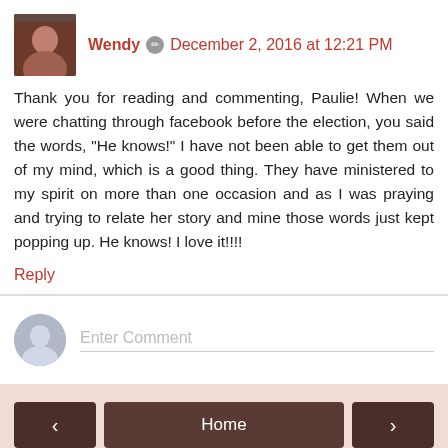Wendy · December 2, 2016 at 12:21 PM
Thank you for reading and commenting, Paulie! When we were chatting through facebook before the election, you said the words, "He knows!" I have not been able to get them out of my mind, which is a good thing. They have ministered to my spirit on more than one occasion and as I was praying and trying to relate her story and mine those words just kept popping up. He knows! I love it!!!!
Reply
Enter Comment
Home
View web version